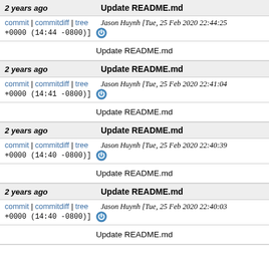2 years ago | Update README.md | commit | commitdiff | tree | Jason Huynh [Tue, 25 Feb 2020 22:44:25 +0000 (14:44 -0800)] | Update README.md
2 years ago | Update README.md | commit | commitdiff | tree | Jason Huynh [Tue, 25 Feb 2020 22:41:04 +0000 (14:41 -0800)] | Update README.md
2 years ago | Update README.md | commit | commitdiff | tree | Jason Huynh [Tue, 25 Feb 2020 22:40:39 +0000 (14:40 -0800)] | Update README.md
2 years ago | Update README.md | commit | commitdiff | tree | Jason Huynh [Tue, 25 Feb 2020 22:40:03 +0000 (14:40 -0800)] | Update README.md